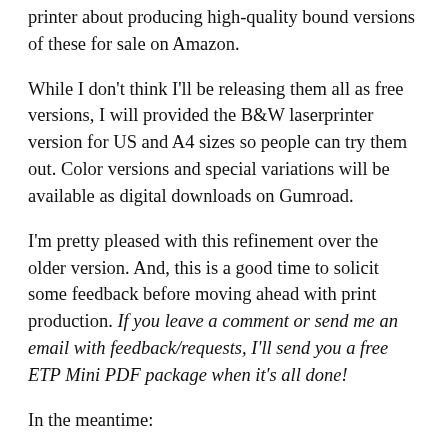printer about producing high-quality bound versions of these for sale on Amazon.
While I don't think I'll be releasing them all as free versions, I will provided the B&W laserprinter version for US and A4 sizes so people can try them out. Color versions and special variations will be available as digital downloads on Gumroad.
I'm pretty pleased with this refinement over the older version. And, this is a good time to solicit some feedback before moving ahead with print production. If you leave a comment or send me an email with feedback/requests, I'll send you a free ETP Mini PDF package when it's all done!
In the meantime:
» Download Mini ETP Template (2UP on US Letter)